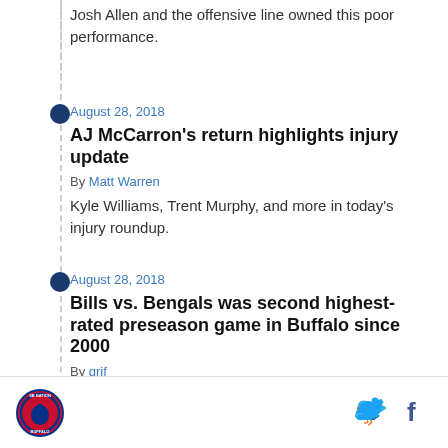Josh Allen and the offensive line owned this poor performance.
August 28, 2018
AJ McCarron's return highlights injury update
By Matt Warren
Kyle Williams, Trent Murphy, and more in today's injury roundup.
August 28, 2018
Bills vs. Bengals was second highest-rated preseason game in Buffalo since 2000
By grif
[Figure (logo): Buffalo Bills circular logo with player graphic and team text around border]
[Figure (illustration): Twitter bird icon in blue]
[Figure (illustration): Facebook 'f' icon in dark blue]